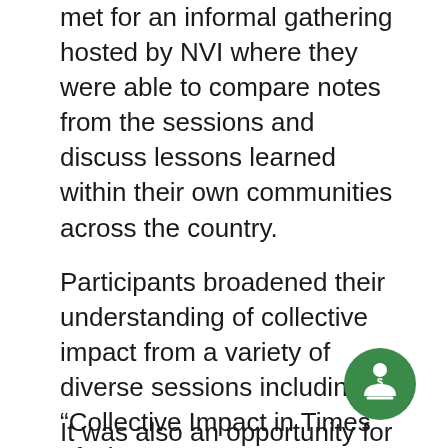met for an informal gathering hosted by NVI where they were able to compare notes from the sessions and discuss lessons learned within their own communities across the country.
Participants broadened their understanding of collective impact from a variety of diverse sessions including “Collective Impact in Times of Disaster Recovery”, “Unifying Shared Measurement to Unify Partners, Expand Connections, and Amplify Voices”, and “Bridging the Divide: When and How to Engage the Public Sector in Collective Impact.” The forum also addressed how collective impact affects/leverages the work of funders, backbones, partners and community members alike.
It was also an opportunity for NVI community
[Figure (illustration): Green circle icon with a dollar sign and a hand/person symbol, representing funding or financial support]